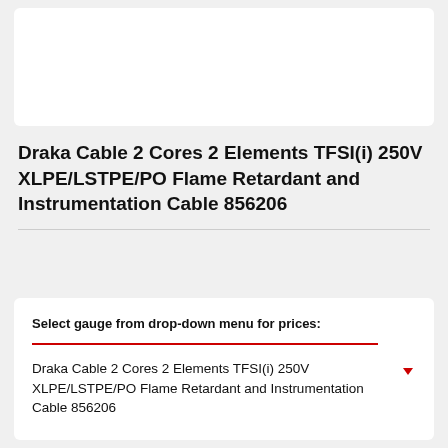Draka Cable 2 Cores 2 Elements TFSI(i) 250V XLPE/LSTPE/PO Flame Retardant and Instrumentation Cable 856206
Select gauge from drop-down menu for prices:
Draka Cable 2 Cores 2 Elements TFSI(i) 250V XLPE/LSTPE/PO Flame Retardant and Instrumentation Cable 856206